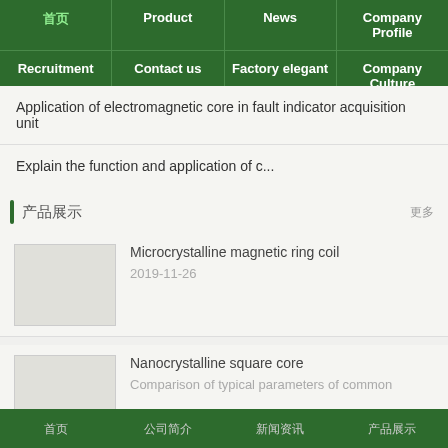首页 | Product | News | Company Profile | Recruitment | Contact us | Factory elegant | Company Culture
Application of electromagnetic core in fault indicator acquisition unit
Explain the function and application of c...
产品展示
更多
Microcrystalline magnetic ring coil
2019-11-26
Nanocrystalline square core
Comparison of typical parameters of common
首页 | 公司简介 | 新闻资讯 | 产品展示